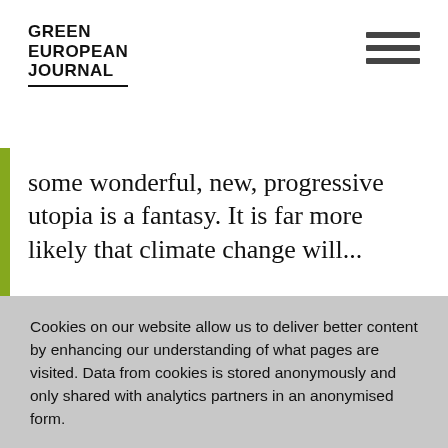GREEN EUROPEAN JOURNAL
some wonderful, new, progressive utopia is a fantasy. It is far more likely that climate change will...
Cookies on our website allow us to deliver better content by enhancing our understanding of what pages are visited. Data from cookies is stored anonymously and only shared with analytics partners in an anonymised form.
Find out more about our use of cookies in our privacy policy.
GOT IT